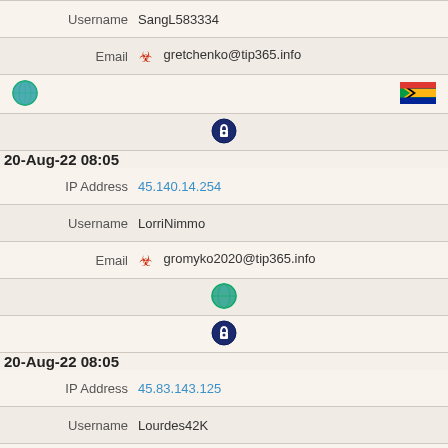Username  SangL583334
Email  gretchenko@tip365.info
[globe icon] [south africa flag]
[lock icon]
20-Aug-22 08:05
IP Address  45.140.14.254
Username  LorriNimmo
Email  gromyko2020@tip365.info
[globe icon]
[lock icon]
20-Aug-22 08:05
IP Address  45.83.143.125
Username  Lourdes42K
Email  home@tip365.info
[globe icon]
[lock icon]